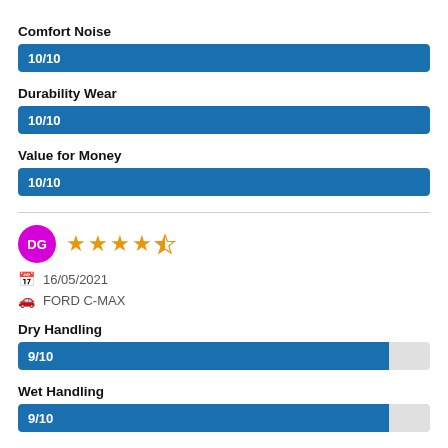Comfort Noise
[Figure (bar-chart): Comfort Noise]
Durability Wear
[Figure (bar-chart): Durability Wear]
Value for Money
[Figure (bar-chart): Value for Money]
DG  ★★★★½  16/05/2021  FORD C-MAX
Dry Handling
[Figure (bar-chart): Dry Handling]
Wet Handling
[Figure (bar-chart): Wet Handling]
Comfort Noise